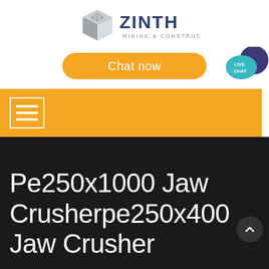[Figure (logo): ZINTH Mining & Construction logo with metallic cube icon and dark blue text]
[Figure (screenshot): Orange rounded 'Chat now' button]
[Figure (screenshot): Live Chat speech bubble icon in teal/dark blue]
[Figure (screenshot): Orange navigation bar with white hamburger/menu icon]
Pe250x1000 Jaw Crusherpe250x400 Jaw Crusher